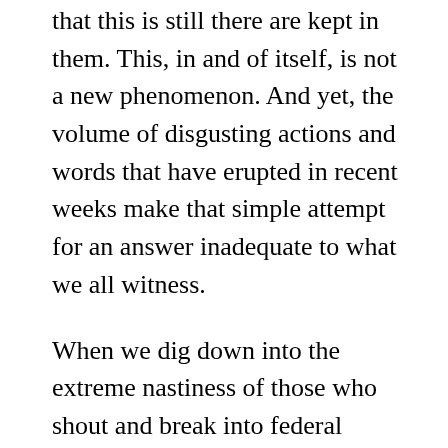that this is still there are kept in them. This, in and of itself, is not a new phenomenon. And yet, the volume of disgusting actions and words that have erupted in recent weeks make that simple attempt for an answer inadequate to what we all witness.
When we dig down into the extreme nastiness of those who shout and break into federal buildings we see and hear the fear that reaches beyond basic economics which is often seen as the fault line. Rather, at the heart of the anger of these white people, is the fact that when they looked at President Obama or now see soon-to-be Vice-President-elect Kamala Harris they are looking at the future. And it gets them all unsettled. While there are other cultural issues or economic matters (such as large banks and bailouts) that stir the rage of these